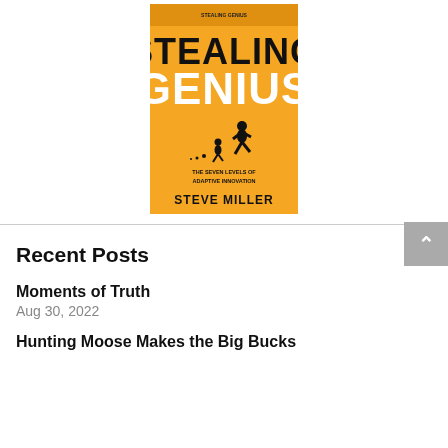[Figure (illustration): Book cover for 'Stealing Genius: The Seven Levels of Adaptive Innovation' by Steve Miller. Orange background with silhouette of a person running carrying something and small figures following.]
Recent Posts
Moments of Truth
Aug 30, 2022
Hunting Moose Makes the Big Bucks